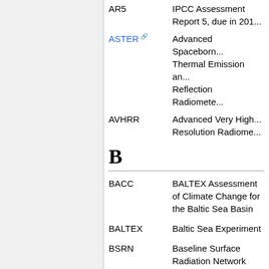AR5 — IPCC Assessment Report 5, due in 201...
ASTER — Advanced Spaceborne Thermal Emission and Reflection Radiomete...
AVHRR — Advanced Very High Resolution Radiome...
B
BACC — BALTEX Assessment of Climate Change for the Baltic Sea Basin
BALTEX — Baltic Sea Experiment
BSRN — Baseline Surface Radiation Network
BSSSC — Baltic Sea States Subregional Co-operation